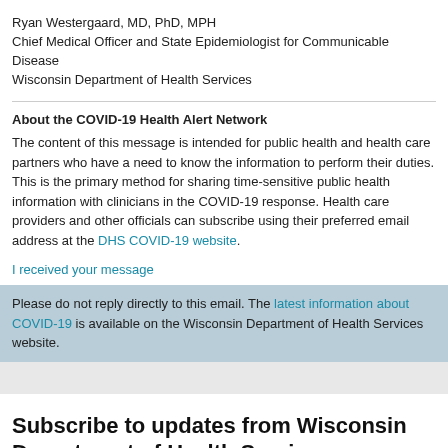Ryan Westergaard, MD, PhD, MPH
Chief Medical Officer and State Epidemiologist for Communicable Disease
Wisconsin Department of Health Services
About the COVID-19 Health Alert Network
The content of this message is intended for public health and health care partners who have a need to know the information to perform their duties. This is the primary method for sharing time-sensitive public health information with clinicians in the COVID-19 response. Health care providers and other officials can subscribe using their preferred email address at the DHS COVID-19 website.
I received your message
Please do not reply directly to this email. The latest information about COVID-19 is available on the Wisconsin Department of Health Services website.
Subscribe to updates from Wisconsin Department of Health Services
Email Address